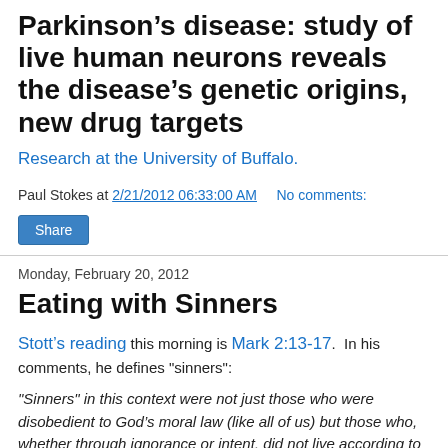Parkinson’s disease: study of live human neurons reveals the disease’s genetic origins, new drug targets
Research at the University of Buffalo.
Paul Stokes at 2/21/2012 06:33:00 AM    No comments:
Share
Monday, February 20, 2012
Eating with Sinners
Stott’s reading this morning is Mark 2:13-17.  In his comments, he defines "sinners":
"Sinners" in this context were not just those who were disobedient to God’s moral law (like all of us) but those who, whether through ignorance or intent, did not live according to the traditions of the scribes.  Both groups were shunned by all respectable people, who would neither give hospitality to